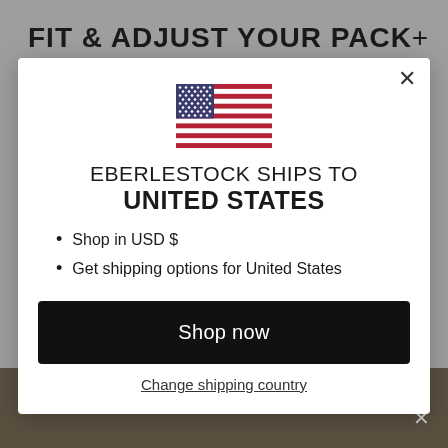FIT & ADJUST YOUR PACK
[Figure (screenshot): US flag emoji/icon centered in modal]
EBERLESTOCK SHIPS TO UNITED STATES
Shop in USD $
Get shipping options for United States
Shop now
Change shipping country